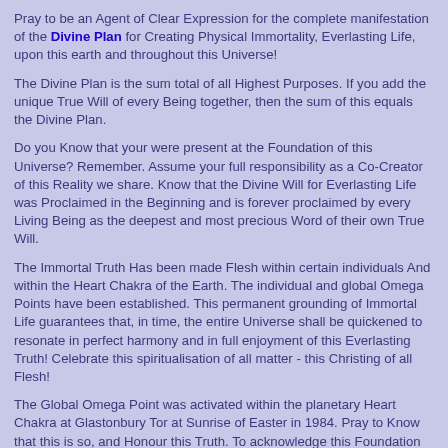Pray to be an Agent of Clear Expression for the complete manifestation of the Divine Plan for Creating Physical Immortality, Everlasting Life, upon this earth and throughout this Universe!
The Divine Plan is the sum total of all Highest Purposes. If you add the unique True Will of every Being together, then the sum of this equals the Divine Plan.
Do you Know that your were present at the Foundation of this Universe? Remember. Assume your full responsibility as a Co-Creator of this Reality we share. Know that the Divine Will for Everlasting Life was Proclaimed in the Beginning and is forever proclaimed by every Living Being as the deepest and most precious Word of their own True Will.
The Immortal Truth Has been made Flesh within certain individuals And within the Heart Chakra of the Earth. The individual and global Omega Points have been established. This permanent grounding of Immortal Life guarantees that, in time, the entire Universe shall be quickened to resonate in perfect harmony and in full enjoyment of this Everlasting Truth! Celebrate this spiritualisation of all matter - this Christing of all Flesh!
The Global Omega Point was activated within the planetary Heart Chakra at Glastonbury Tor at Sunrise of Easter in 1984. Pray to Know that this is so, and Honour this Truth. To acknowledge this Foundation Stone for the unfoldment of the Divine Plan for Immortality upon this planet empowers your own Immortal Work! Pray often to see clearly, and to support, this Divine Plan.
Key 13